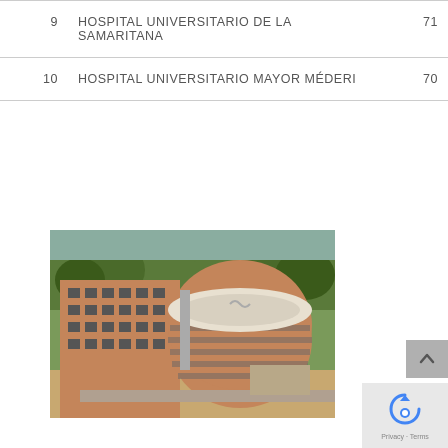| # | Name | Score |
| --- | --- | --- |
| 9 | HOSPITAL UNIVERSITARIO DE LA SAMARITANA | 71 |
| 10 | HOSPITAL UNIVERSITARIO MAYOR MÉDERI | 70 |
[Figure (photo): Aerial view of a large modern hospital building with curved architecture, brick facade with horizontal dark window strips, and a circular rooftop structure. Trees and roads visible in background.]